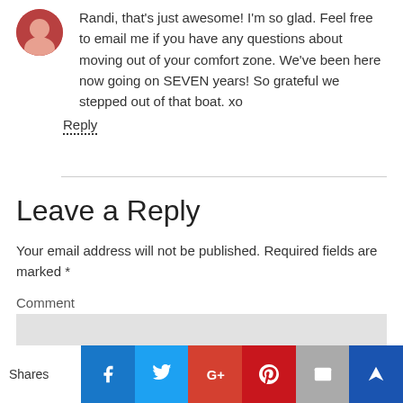[Figure (photo): Small circular avatar photo of a person at the top left of the comment]
Randi, that's just awesome! I'm so glad. Feel free to email me if you have any questions about moving out of your comfort zone. We've been here now going on SEVEN years! So grateful we stepped out of that boat. xo
Reply
Leave a Reply
Your email address will not be published. Required fields are marked *
Comment
[Figure (infographic): Social share bar at the bottom with Shares label, Facebook, Twitter, Google+, Pinterest, Email, and Crown buttons]